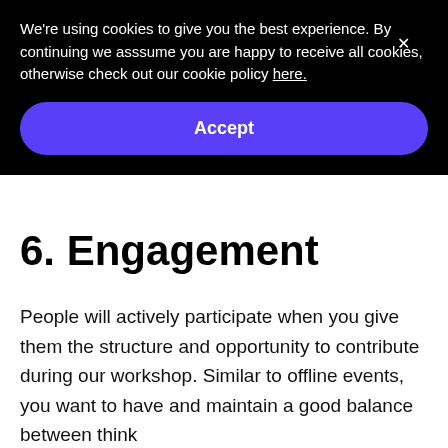We're using cookies to give you the best experience. By continuing we asssume you are happy to receive all cookies, otherwise check out our cookie policy here.
Accept
6. Engagement
People will actively participate when you give them the structure and opportunity to contribute during our workshop. Similar to offline events, you want to have and maintain a good balance between think